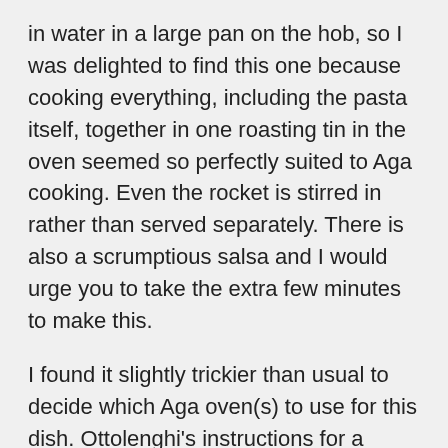in water in a large pan on the hob, so I was delighted to find this one because cooking everything, including the pasta itself, together in one roasting tin in the oven seemed so perfectly suited to Aga cooking. Even the rocket is stirred in rather than served separately. There is also a scrumptious salsa and I would urge you to take the extra few minutes to make this.
I found it slightly trickier than usual to decide which Aga oven(s) to use for this dish. Ottolenghi's instructions for a conventional oven are 240ºC for the initial meat-browning stage and to turn it down to 200ºC after that. I found that if I put it in the roasting oven for both stages the pasta browned too quickly, even if I did as instructed and turned it in the sauce a couple of times to keep as much of it as possible submerged. I've shown at 7. below what worked for me. You might find a different